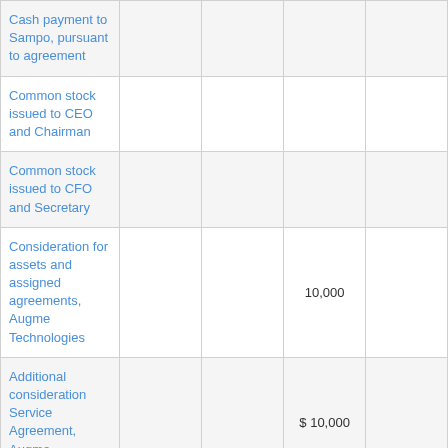| Cash payment to Sampo, pursuant to agreement |  |  |  |  |
| Common stock issued to CEO and Chairman |  |  |  |  |
| Common stock issued to CFO and Secretary |  |  |  |  |
| Consideration for assets and assigned agreements, Augme Technologies |  |  | 10,000 |  |
| Additional consideration Service Agreement, Augme Technologies |  |  | $ 10,000 |  |